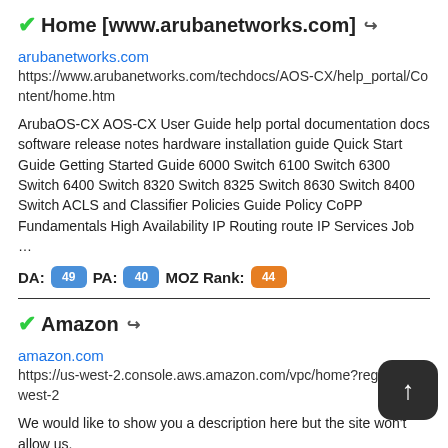Home [www.arubanetworks.com]
arubanetworks.com
https://www.arubanetworks.com/techdocs/AOS-CX/help_portal/Content/home.htm
ArubaOS-CX AOS-CX User Guide help portal documentation docs software release notes hardware installation guide Quick Start Guide Getting Started Guide 6000 Switch 6100 Switch 6300 Switch 6400 Switch 8320 Switch 8325 Switch 8630 Switch 8400 Switch ACLS and Classifier Policies Guide Policy CoPP Fundamentals High Availability IP Routing route IP Services Job …
DA: 49 PA: 40 MOZ Rank: 44
Amazon
amazon.com
https://us-west-2.console.aws.amazon.com/vpc/home?region=us-west-2
We would like to show you a description here but the site won't allow us.
DA: 68 PA: 100 MOZ Rank: 70